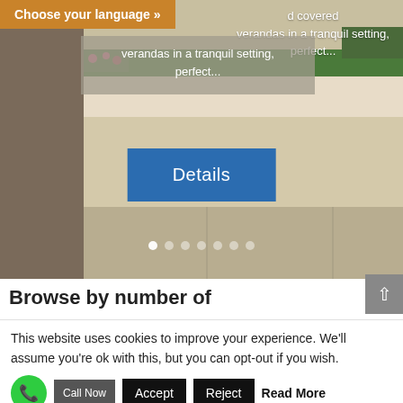[Figure (screenshot): Website screenshot showing a property listing page with a building/courtyard photo, language selector bar in amber/orange, text overlay about covered verandas in a tranquil setting, a blue Details button, and carousel navigation dots.]
d covered verandas in a tranquil setting, perfect...
Details
Browse by number of
This website uses cookies to improve your experience. We'll assume you're ok with this, but you can opt-out if you wish.
Call Now
Accept
Reject
Read More